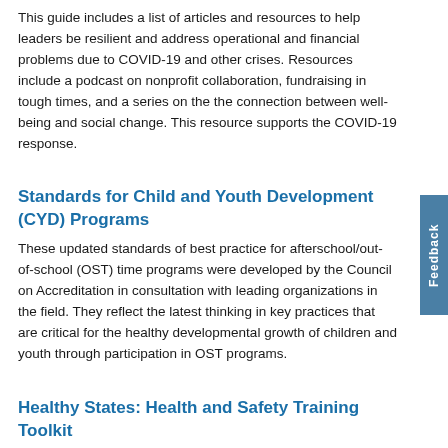This guide includes a list of articles and resources to help leaders be resilient and address operational and financial problems due to COVID-19 and other crises. Resources include a podcast on nonprofit collaboration, fundraising in tough times, and a series on the the connection between well-being and social change. This resource supports the COVID-19 response.
Standards for Child and Youth Development (CYD) Programs
These updated standards of best practice for afterschool/out-of-school (OST) time programs were developed by the Council on Accreditation in consultation with leading organizations in the field. They reflect the latest thinking in key practices that are critical for the healthy developmental growth of children and youth through participation in OST programs.
Healthy States: Health and Safety Training Toolkit
This toolkit provides guidance and resources for meeting CCDF health and safety training basic requirements as well as best practice. Topics covered include infectious diseases, medication administration, facilities safety, transportation, emergency preparedness, child abuse and maltreatment, and more.